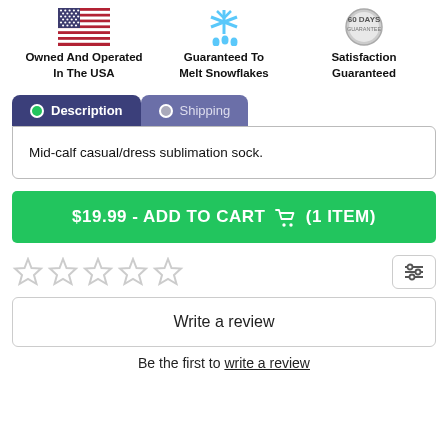[Figure (infographic): Three trust badge icons: US flag (Owned And Operated In The USA), snowflake with drops (Guaranteed To Melt Snowflakes), shield/badge (Satisfaction Guaranteed 60 Days)]
Owned And Operated
In The USA
Guaranteed To
Melt Snowflakes
Satisfaction
Guaranteed
Description
Shipping
Mid-calf casual/dress sublimation sock.
$19.99 - ADD TO CART  (1 ITEM)
[Figure (infographic): Five empty star rating icons]
[Figure (infographic): Filter/sort icon with three horizontal sliders]
Write a review
Be the first to write a review